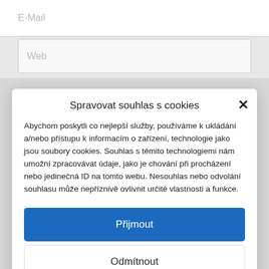[Figure (screenshot): Background web form with E-mail and Web input fields partially visible behind a cookie consent modal dialog.]
Spravovat souhlas s cookies
Abychom poskytli co nejlepší služby, používáme k ukládání a/nebo přístupu k informacím o zařízení, technologie jako jsou soubory cookies. Souhlas s těmito technologiemi nám umožní zpracovávat údaje, jako je chování při procházení nebo jedinečná ID na tomto webu. Nesouhlas nebo odvolání souhlasu může nepříznivě ovlivnit určité vlastnosti a funkce.
Přijmout
Odmítnout
Předvolby
Zásady cookies